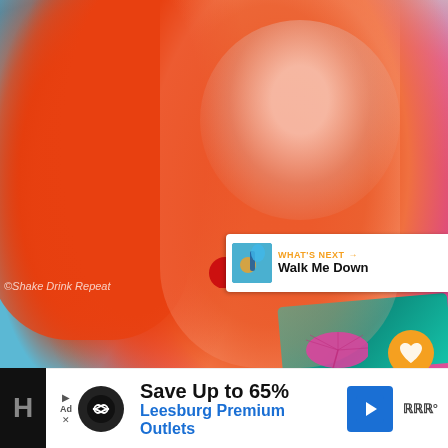[Figure (photo): Two stemmed glasses filled with red/orange cocktail drink with ice, decorated with colorful cocktail umbrellas (blue floral and pink), red cherries, and an orange slice garnish. Background is gray. Teal fabric visible on right side.]
43
WHAT'S NEXT → Walk Me Down
©Shake Drink Repeat
Save Up to 65%
Leesburg Premium Outlets